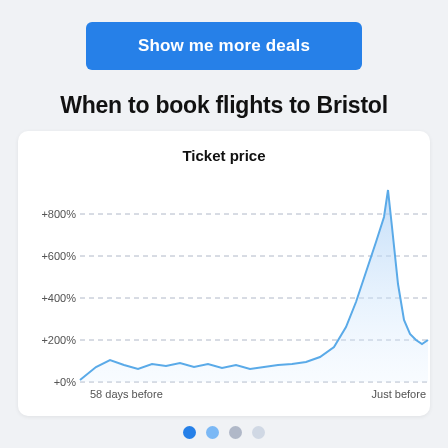Show me more deals
When to book flights to Bristol
[Figure (area-chart): Area chart showing ticket price increase from 58 days before to just before departure. Price stays near +0-100% for most of the period then spikes sharply to over +800% just before departure.]